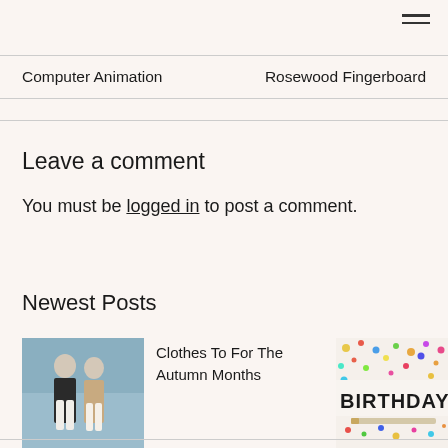Computer Animation   Rosewood Fingerboard
Leave a comment
You must be logged in to post a comment.
Newest Posts
[Figure (photo): Two people wearing coats standing against a blue-grey sky background]
Clothes To For The Autumn Months
[Figure (photo): Birthday sign with colorful confetti dots]